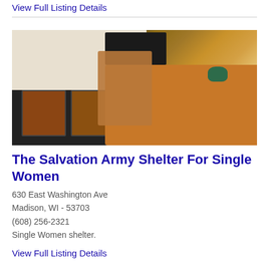View Full Listing Details
[Figure (photo): Interior photo of a kitchen showing a black stove/oven on the left, a wooden dining table with a chair and green pitcher on the right]
The Salvation Army Shelter For Single Women
630 East Washington Ave
Madison, WI - 53703
(608) 256-2321
Single Women shelter.
View Full Listing Details